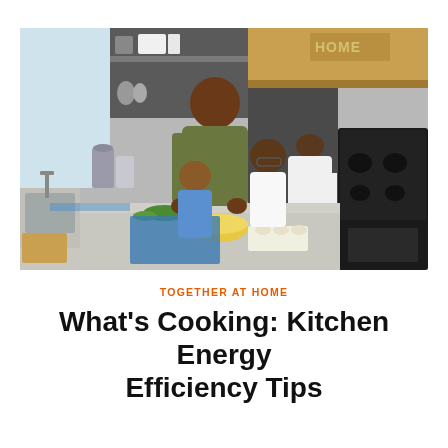[Figure (photo): A family cooking together in a modern kitchen. A man in an olive t-shirt helps two children at a kitchen island where they are cracking eggs and mixing ingredients. A woman in a white shirt stands at a black gas stove in the background. Kitchen shelves with appliances and dishes are visible.]
TOGETHER AT HOME
What's Cooking: Kitchen Energy Efficiency Tips